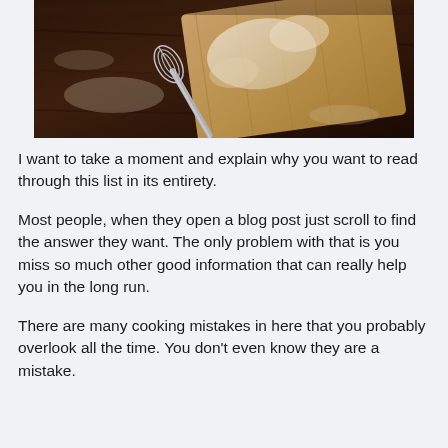[Figure (photo): A whisk and wooden cutting board with flour on a dark wooden surface, cooking scene from above]
I want to take a moment and explain why you want to read through this list in its entirety.
Most people, when they open a blog post just scroll to find the answer they want. The only problem with that is you miss so much other good information that can really help you in the long run.
There are many cooking mistakes in here that you probably overlook all the time. You don't even know they are a mistake.